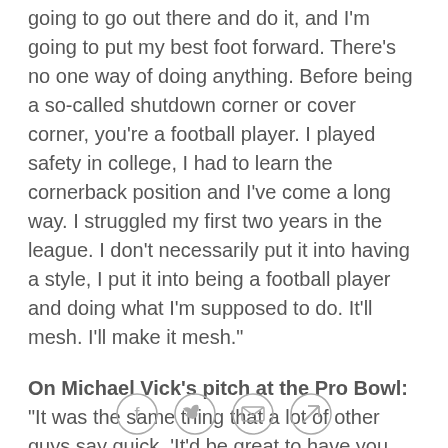going to go out there and do it, and I'm going to put my best foot forward. There's no one way of doing anything. Before being a so-called shutdown corner or cover corner, you're a football player. I played safety in college, I had to learn the cornerback position and I've come a long way. I struggled my first two years in the league. I don't necessarily put it into having a style, I put it into being a football player and doing what I'm supposed to do. It'll mesh. I'll make it mesh."
On Michael Vick's pitch at the Pro Bowl: "It was the same thing that a lot of other guys say quick, 'It'd be great to have you. We'd be taking another step.' That sort of thing. I saw him today and his first words were that we made it happen. And it was right, we did."
On any comments for his fans in Oakland:"What
[Figure (other): Social sharing icons: Facebook, Twitter, Email, Link]